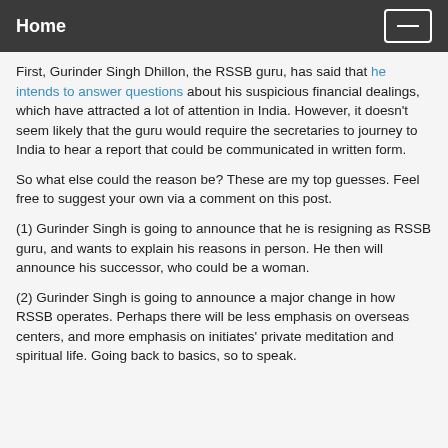Home
First, Gurinder Singh Dhillon, the RSSB guru, has said that he intends to answer questions about his suspicious financial dealings, which have attracted a lot of attention in India. However, it doesn't seem likely that the guru would require the secretaries to journey to India to hear a report that could be communicated in written form.
So what else could the reason be? These are my top guesses. Feel free to suggest your own via a comment on this post.
(1) Gurinder Singh is going to announce that he is resigning as RSSB guru, and wants to explain his reasons in person. He then will announce his successor, who could be a woman.
(2) Gurinder Singh is going to announce a major change in how RSSB operates. Perhaps there will be less emphasis on overseas centers, and more emphasis on initiates' private meditation and spiritual life. Going back to basics, so to speak.